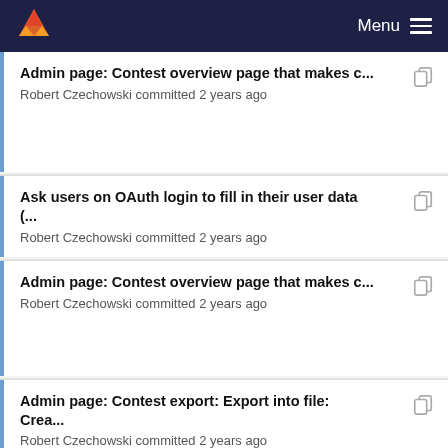Menu
Admin page: Contest overview page that makes c...
Robert Czechowski committed 2 years ago
Ask users on OAuth login to fill in their user data (... 
Robert Czechowski committed 2 years ago
Admin page: Contest overview page that makes c...
Robert Czechowski committed 2 years ago
Admin page: Contest export: Export into file: Crea...
Robert Czechowski committed 2 years ago
Admin interface: Add stub for admin export downl...
Robert Czechowski committed 2 years ago